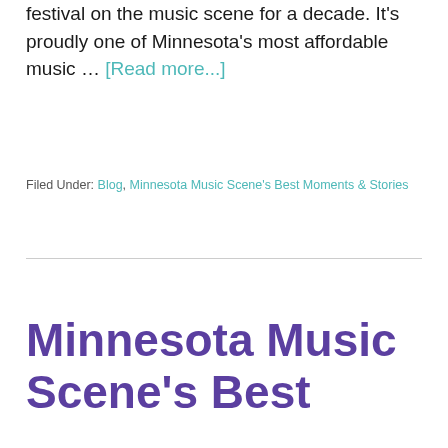festival on the music scene for a decade. It's proudly one of Minnesota's most affordable music … [Read more...]
Filed Under: Blog, Minnesota Music Scene's Best Moments & Stories
Minnesota Music Scene's Best